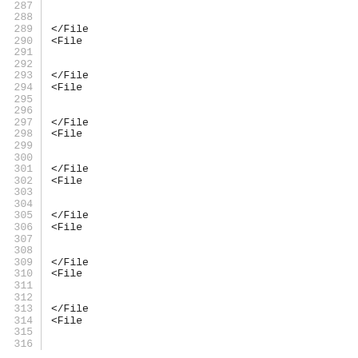Code listing lines 287-316 with </File and <File tags appearing on alternating lines at right side (truncated)